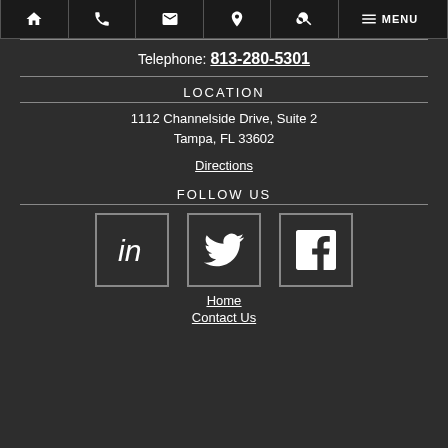Navigation bar with home, phone, email, location, search, menu icons
Telephone: 813-280-5301
LOCATION
1112 Channelside Drive, Suite 2
Tampa, FL 33602
Directions
FOLLOW US
[Figure (infographic): Three social media icons in bordered boxes: LinkedIn (in), Twitter (bird), Facebook (f)]
Home
Contact Us